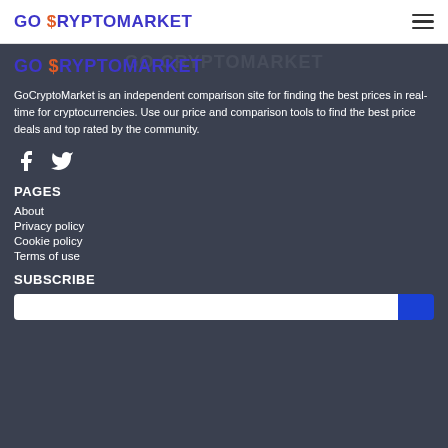GO CRYPTOMARKET
GO CRYPTOMARKET
GoCryptoMarket is an independent comparison site for finding the best prices in real-time for cryptocurrencies. Use our price and comparison tools to find the best price deals and top rated by the community.
[Figure (illustration): Facebook and Twitter social media icons in white on dark background]
PAGES
About
Privacy policy
Cookie policy
Terms of use
SUBSCRIBE